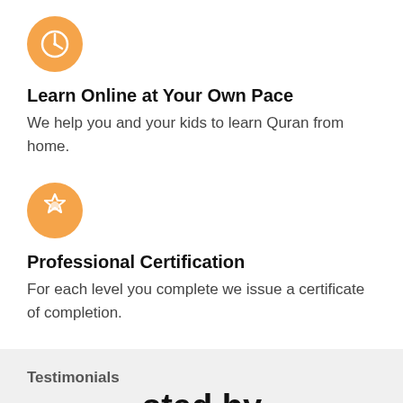[Figure (illustration): Orange circle icon with a clock symbol]
Learn Online at Your Own Pace
We help you and your kids to learn Quran from home.
[Figure (illustration): Orange circle icon with a badge/certification symbol]
Professional Certification
For each level you complete we issue a certificate of completion.
Testimonials
sted by Thousand of Students and Tutors
[Figure (illustration): Green WhatsApp button in bottom left corner]
[Figure (illustration): Teal scroll-to-top button with arrow]
[Figure (illustration): Orange pill-shaped BOOK FREE TRIAL! button]